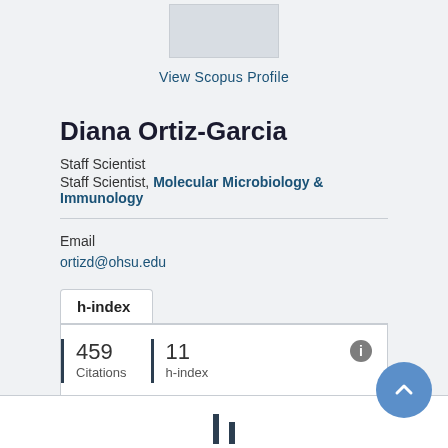[Figure (photo): Profile photo placeholder box (gray rectangle)]
View Scopus Profile
Diana Ortiz-Garcia
Staff Scientist
Staff Scientist, Molecular Microbiology & Immunology
Email
ortizd@ohsu.edu
h-index
| Metric | Value |
| --- | --- |
| 459 Citations | 11 h-index |
[Figure (other): Scroll-to-top circular button with upward chevron icon]